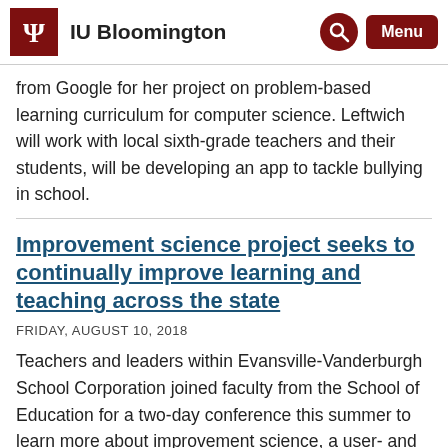IU Bloomington
from Google for her project on problem-based learning curriculum for computer science. Leftwich will work with local sixth-grade teachers and their students, will be developing an app to tackle bullying in school.
Improvement science project seeks to continually improve learning and teaching across the state
FRIDAY, AUGUST 10, 2018
Teachers and leaders within Evansville-Vanderburgh School Corporation joined faculty from the School of Education for a two-day conference this summer to learn more about improvement science, a user- and problem-